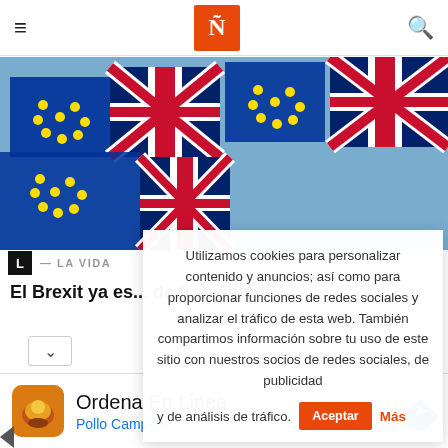Ñ
[Figure (photo): Photo of UK Union Jack flags and EU flags bunting strung together against a blue sky, related to Brexit]
L — LA VIDA
El Brexit ya es... de transición
Utilizamos cookies para personalizar contenido y anuncios; así como para proporcionar funciones de redes sociales y analizar el tráfico de esta web. También compartimos información sobre tu uso de este sitio con nuestros socios de redes sociales, de publicidad y de análisis de tráfico. Aceptar Más
[Figure (logo): Advertisement: Ordena En Linea – Pollo Campero app icon and navigation arrow]
Ordena En Linea
Pollo Campero